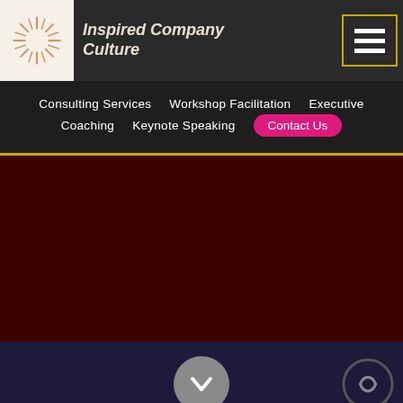[Figure (logo): Sunburst/starburst logo icon with radiating lines on white background]
Inspired Company Culture
[Figure (other): Hamburger menu icon with three horizontal lines, gold/yellow border]
Consulting Services   Workshop Facilitation   Executive Coaching   Keynote Speaking   Contact Us
[Figure (other): Dark red/maroon full-width background section]
[Figure (other): Dark purple/navy bottom bar with down chevron arrow circle button and a circular icon on the right]